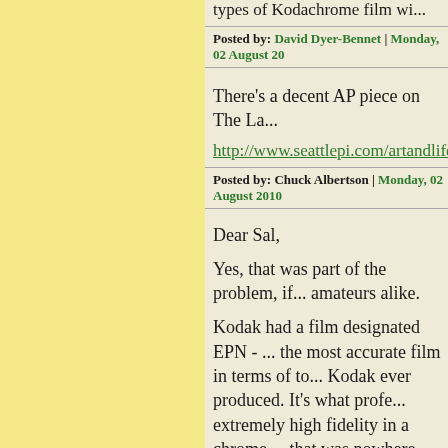types of Kodachrome film wi...
Posted by: David Dyer-Bennet | Monday, 02 August 20...
There's a decent AP piece on The La...
http://www.seattlepi.com/artandlife/...
Posted by: Chuck Albertson | Monday, 02 August 2010...
Dear Sal,
Yes, that was part of the problem, if... amateurs alike.
Kodak had a film designated EPN - ... the most accurate film in terms of to... Kodak ever produced. It's what profe... extremely high fidelity in a chrome.... that was nowhere near a match in fid...